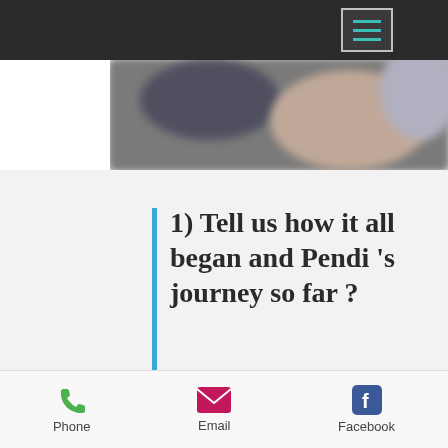[Figure (screenshot): Dark top navigation bar with hamburger menu icon (three teal horizontal lines in a rounded rectangle)]
[Figure (photo): Blurred background photo, dark and muted tones]
1) Tell us how it all began and Pendi 's journey so far ?
It started quite by accident. I had a few designs in mind for lampshades for our home when my husband and I got married. Our friends and family liked it
Phone   Email   Facebook